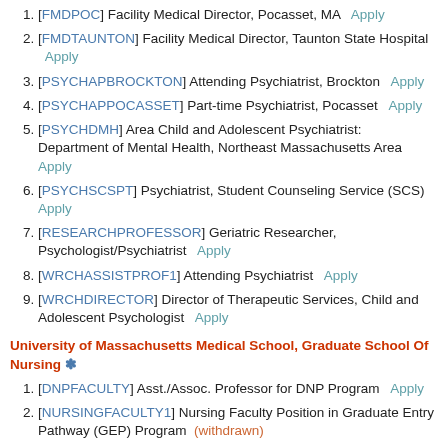[FMDPOC] Facility Medical Director, Pocasset, MA   Apply
[FMDTAUNTON] Facility Medical Director, Taunton State Hospital   Apply
[PSYCHAPBROCKTON] Attending Psychiatrist, Brockton   Apply
[PSYCHAPPOCASSET] Part-time Psychiatrist, Pocasset   Apply
[PSYCHDMH] Area Child and Adolescent Psychiatrist: Department of Mental Health, Northeast Massachusetts Area   Apply
[PSYCHSCSPT] Psychiatrist, Student Counseling Service (SCS)   Apply
[RESEARCHPROFESSOR] Geriatric Researcher, Psychologist/Psychiatrist   Apply
[WRCHASSISTPROF1] Attending Psychiatrist   Apply
[WRCHDIRECTOR] Director of Therapeutic Services, Child and Adolescent Psychologist   Apply
University of Massachusetts Medical School, Graduate School Of Nursing *
[DNPFACULTY] Asst./Assoc. Professor for DNP Program   Apply
[NURSINGFACULTY1] Nursing Faculty Position in Graduate Entry Pathway (GEP) Program (withdrawn)
[PTFACULTYGRADUATEENTRYPATHWAY] Part-time Nursing Faculty Position in the Graduate Entry Pathway Program (filled